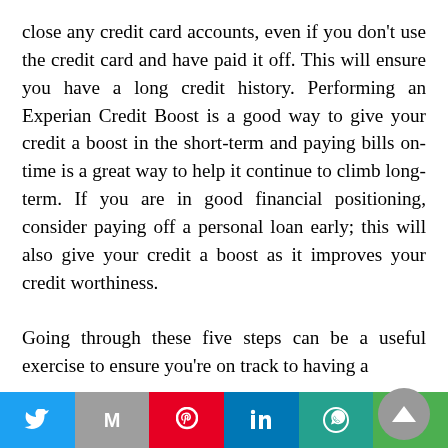close any credit card accounts, even if you don't use the credit card and have paid it off. This will ensure you have a long credit history. Performing an Experian Credit Boost is a good way to give your credit a boost in the short-term and paying bills on-time is a great way to help it continue to climb long-term. If you are in good financial positioning, consider paying off a personal loan early; this will also give your credit a boost as it improves your credit worthiness.
Going through these five steps can be a useful exercise to ensure you're on track to having a
Twitter | Gmail | Pinterest | LinkedIn | WhatsApp | Line